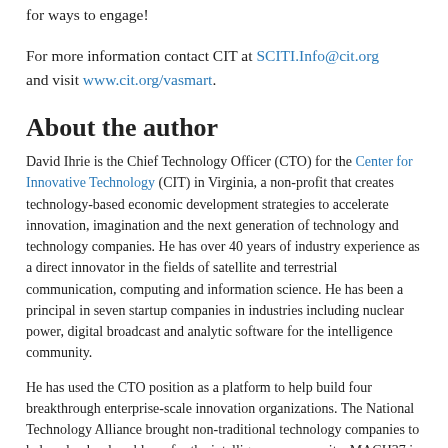for ways to engage!
For more information contact CIT at SCITI.Info@cit.org and visit www.cit.org/vasmart.
About the author
David Ihrie is the Chief Technology Officer (CTO) for the Center for Innovative Technology (CIT) in Virginia, a non-profit that creates technology-based economic development strategies to accelerate innovation, imagination and the next generation of technology and technology companies. He has over 40 years of industry experience as a direct innovator in the fields of satellite and terrestrial communication, computing and information science. He has been a principal in seven startup companies in industries including nuclear power, digital broadcast and analytic software for the intelligence community.
He has used the CTO position as a platform to help build four breakthrough enterprise-scale innovation organizations. The National Technology Alliance brought non-traditional technology companies to help solve hard problems for the intelligence community. MACH37 is the first vertically focused business accelerator for cybersecurity. He leads a program with DHS Science & Technology Directorate to bring leading-edge innovation to the first responder community and has partnered with Smart City Works to create the world’s first infrastructure-focused business actuator. Currently,